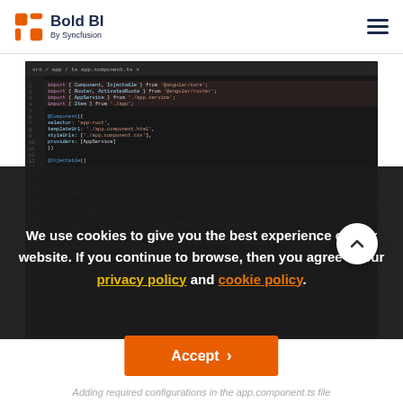Bold BI By Syncfusion
[Figure (screenshot): Code editor screenshot showing TypeScript/Angular code in a dark theme editor. The code shows imports from @angular/core, @angular/router, app.service, and app. It includes @Component decorator with selector 'app-root', templateUrl, styleUrls, providers. Then @Injectable() and export class AppComponent with apiHost set to http://localhost:8080/, environment set to enterprise, rootUrl set to http://localhost:1000/bi, and siteIdentifier set to site/site.]
We use cookies to give you the best experience on our website. If you continue to browse, then you agree to our privacy policy and cookie policy.
Accept
Adding required configurations in the app.component.ts file